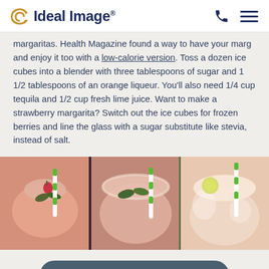Ideal Image®
margaritas. Health Magazine found a way to have your marg and enjoy it too with a low-calorie version. Toss a dozen ice cubes into a blender with three tablespoons of sugar and 1 1/2 tablespoons of an orange liqueur. You'll also need 1/4 cup tequila and 1/2 cup fresh lime juice. Want to make a strawberry margarita? Switch out the ice cubes for frozen berries and line the glass with a sugar substitute like stevia, instead of salt.
[Figure (photo): Three strawberry margarita drinks with green and white striped straws and fresh strawberry garnishes]
GET FREE CONSULTATION